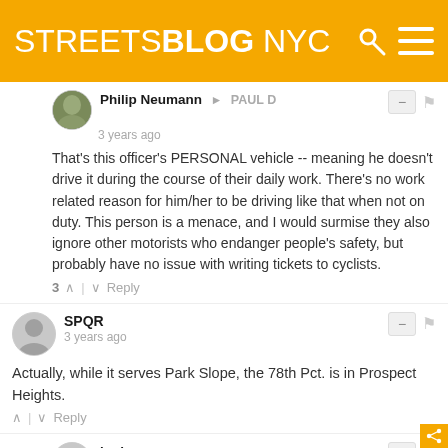STREETSBLOG NYC
Philip Neumann → PAUL D
3 years ago

That's this officer's PERSONAL vehicle -- meaning he doesn't drive it during the course of their daily work. There's no work related reason for him/her to be driving like that when not on duty. This person is a menace, and I would surmise they also ignore other motorists who endanger people's safety, but probably have no issue with writing tickets to cyclists.

3 ↑ | ↓ Reply
SPQR
3 years ago

Actually, while it serves Park Slope, the 78th Pct. is in Prospect Heights.

↑ | ↓ Reply
lonianncarusso
3 years ago